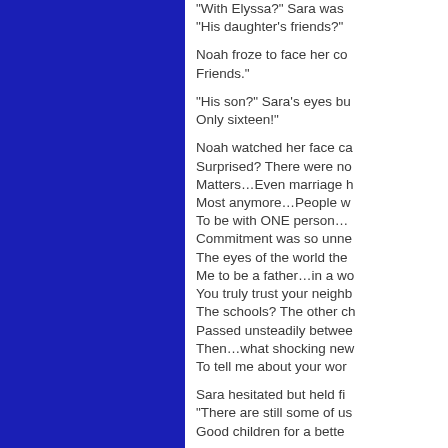[Figure (other): Solid dark blue rectangle panel on the left side of the page]
"With Elyssa?" Sara was ...
"His daughter's friends?"

Noah froze to face her co... Friends."

"His son?" Sara's eyes bu... Only sixteen!"

Noah watched her face ca... Surprised? There were no... Matters…Even marriage h... Most anymore…People w... To be with ONE person…... Commitment was so unne... The eyes of the world they... Me to be a father…in a wo... You truly trust your neighb... The schools? The other ch... Passed unsteadily betwee... Then…what shocking new... To tell me about your wor...

Sara hesitated but held fi... "There are still some of us... Good children for a bette...